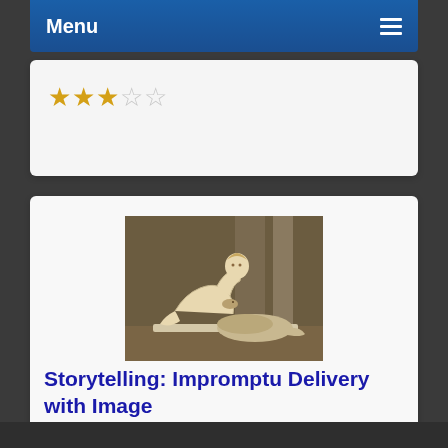Menu
[Figure (other): 3-out-of-5 star rating shown with three filled gold stars and two empty/grey stars]
[Figure (photo): Classical marble sculpture of a male figure wrestling or struggling with a large coiled snake, displayed on a pedestal in a museum setting]
Storytelling: Impromptu Delivery with Image